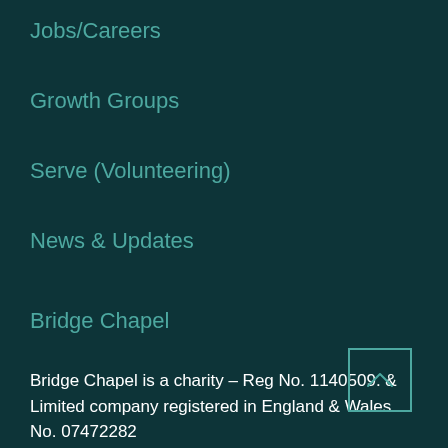Jobs/Careers
Growth Groups
Serve (Volunteering)
News & Updates
Bridge Chapel
Bridge Chapel is a charity – Reg No. 1140509. & Limited company registered in England & Wales No. 07472282
[Figure (other): Scroll-to-top button with upward chevron arrow inside a square border]